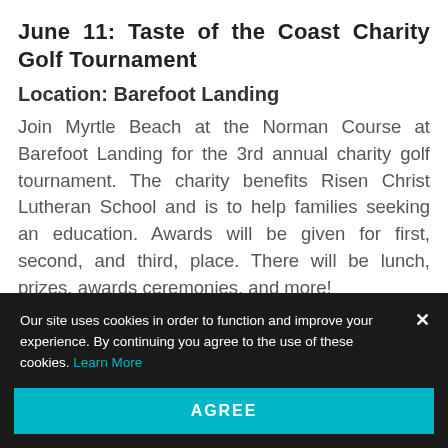June 11: Taste of the Coast Charity Golf Tournament
Location: Barefoot Landing
Join Myrtle Beach at the Norman Course at Barefoot Landing for the 3rd annual charity golf tournament. The charity benefits Risen Christ Lutheran School and is to help families seeking an education. Awards will be given for first, second, and third, place. There will be lunch, prizes, awards ceremonies, and more!
Our site uses cookies in order to function and improve your experience. By continuing you agree to the use of these cookies. Learn More